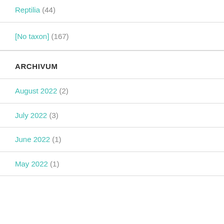Reptilia (44)
[No taxon] (167)
ARCHIVUM
August 2022 (2)
July 2022 (3)
June 2022 (1)
May 2022 (1)